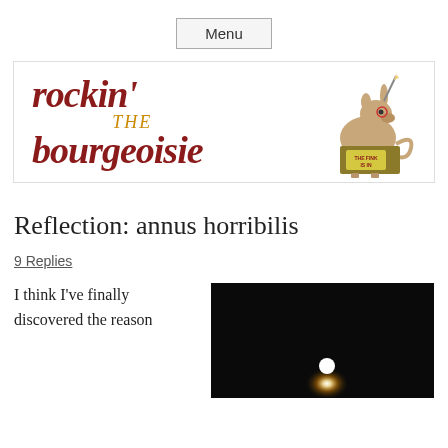Menu
[Figure (illustration): Blog header banner reading 'rockin' THE bourgeoisie' in dark red italic bold serif font with a cartoon illustration of a rat/animal character sitting at a lemonade-style stand with 'THE FINK IS IN' sign on the right side]
Reflection: annus horribilis
9 Replies
I think I've finally discovered the reason
[Figure (photo): Dark nighttime photograph with a bright light source (possibly moon or lamp) glowing against a very dark background]